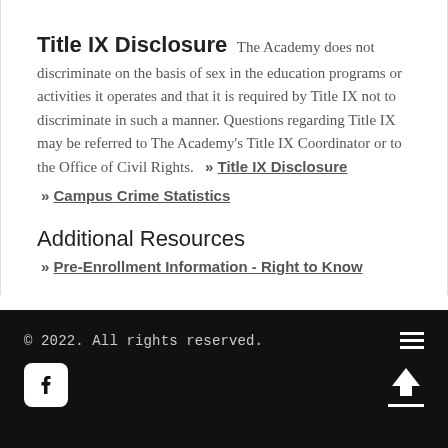Title IX Disclosure   The Academy does not discriminate on the basis of sex in the education programs or activities it operates and that it is required by Title IX not to discriminate in such a manner. Questions regarding Title IX may be referred to The Academy's Title IX Coordinator or to the Office of Civil Rights.   » Title IX Disclosure
» Campus Crime Statistics
Additional Resources
» Pre-Enrollment Information - Right to Know
© 2022. All rights reserved.